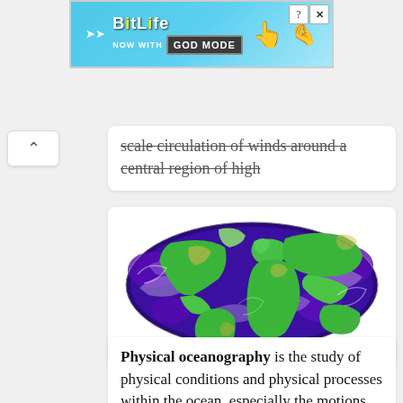[Figure (screenshot): BitLife 'NOW WITH GOD MODE' advertisement banner with blue gradient background, cartoon hand and pointing finger graphics]
scale circulation of winds around a central region of high
[Figure (map): Colorful false-color world map in oval/Mollweide projection showing ocean circulation patterns in purple, blue, green, and yellow colors]
Physical oceanography is the study of physical conditions and physical processes within the ocean, especially the motions and